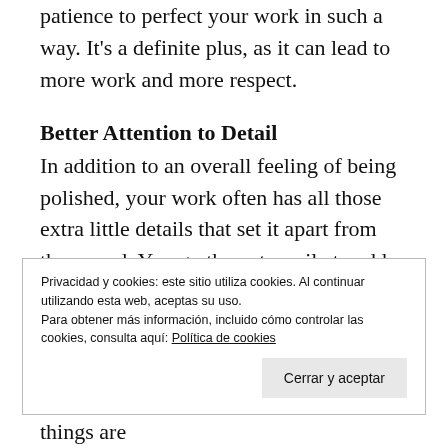patience to perfect your work in such a way. It's a definite plus, as it can lead to more work and more respect.
Better Attention to Detail
In addition to an overall feeling of being polished, your work often has all those extra little details that set it apart from the crowd. You go the extra mile to add details to your work that others wouldn't even think of. This applies both to design and to other aspects of
Privacidad y cookies: este sitio utiliza cookies. Al continuar utilizando esta web, aceptas su uso.
Para obtener más información, incluido cómo controlar las cookies, consulta aquí: Política de cookies
Cerrar y aceptar
have systems in place to make sure things are